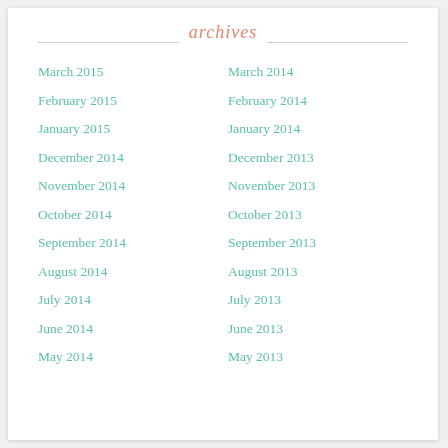archives
March 2015
February 2015
January 2015
December 2014
November 2014
October 2014
September 2014
August 2014
July 2014
June 2014
May 2014
March 2014
February 2014
January 2014
December 2013
November 2013
October 2013
September 2013
August 2013
July 2013
June 2013
May 2013